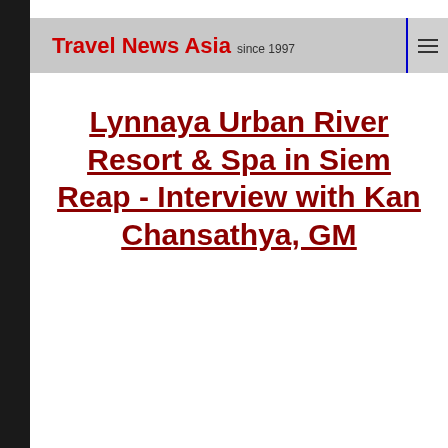Travel News Asia since 1997
Lynnaya Urban River Resort & Spa in Siem Reap - Interview with Kan Chansathya, GM